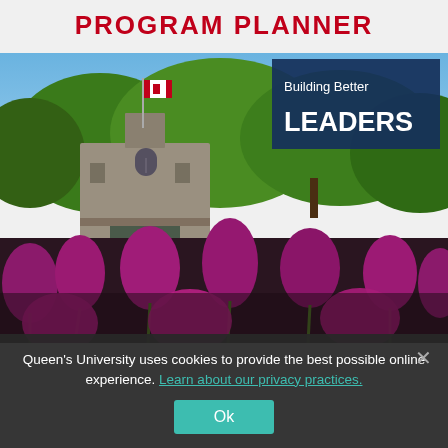PROGRAM PLANNER
[Figure (photo): Photo of a Queen's University stone building with Canadian flag and green trees, in the background, with vibrant purple/magenta tulips in the foreground. An overlay box in the upper right reads 'Building Better LEADERS' on a dark navy background.]
Queen's University uses cookies to provide the best possible online experience. Learn about our privacy practices.
Ok